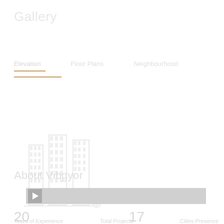Gallery
Elevation    Floor Plans    Neighbourhood
[Figure (illustration): Faded illustration of tall residential buildings (Vibgyor Aashiyana elevation view) with text 'Images for Elevation of Vibgyor Aashiyana']
About Vibgyor
[Figure (screenshot): Video player bar with play button, gray background]
20
17
1
Years of Experience
Total Projects
Cities Presence